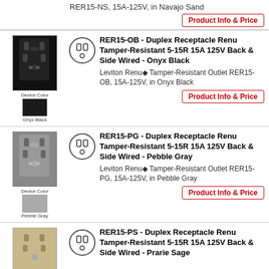RER15-NS, 15A-125V, in Navajo Sand
Product Info & Price
[Figure (photo): Leviton RER15-OB Onyx Black duplex receptacle outlet photo and color swatch]
RER15-OB - Duplex Receptacle Renu Tamper-Resistant 5-15R 15A 125V Back & Side Wired - Onyx Black
Leviton Renu◆ Tamper-Resistant Outlet RER15-OB, 15A-125V, in Onyx Black
Product Info & Price
[Figure (photo): Leviton RER15-PG Pebble Gray duplex receptacle outlet photo and color swatch]
RER15-PG - Duplex Receptacle Renu Tamper-Resistant 5-15R 15A 125V Back & Side Wired - Pebble Gray
Leviton Renu◆ Tamper-Resistant Outlet RER15-PG, 15A-125V, in Pebble Gray
Product Info & Price
[Figure (photo): Leviton RER15-PS Prarie Sage duplex receptacle outlet photo and color swatch]
RER15-PS - Duplex Receptacle Renu Tamper-Resistant 5-15R 15A 125V Back & Side Wired - Prarie Sage